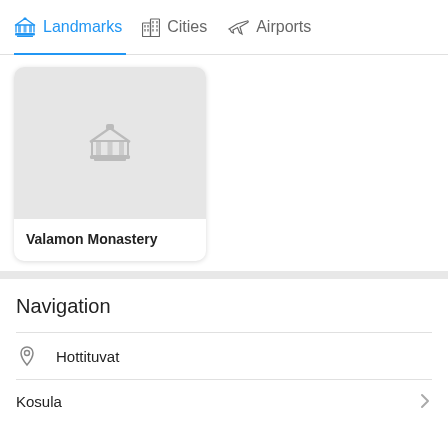Landmarks | Cities | Airports
[Figure (screenshot): A card showing a landmark placeholder image with a building/monument icon on a gray background, titled Valamon Monastery]
Valamon Monastery
Navigation
Hottituvat
Kosula